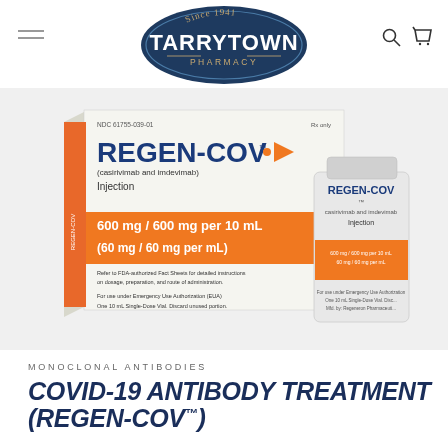[Figure (logo): Tarrytown Pharmacy logo — dark navy badge shape with 'Since 1941' at top, 'TARRYTOWN' in large letters, '— PHARMACY —' below]
[Figure (photo): REGEN-COV (casirivimab and imdevimab) Injection product box and vial. Box shows 600 mg / 600 mg per 10 mL (60 mg / 60 mg per mL) with orange band. Vial also labeled REGEN-COV Injection with orange label strip.]
MONOCLONAL ANTIBODIES
COVID-19 ANTIBODY TREATMENT (REGEN-COV™)